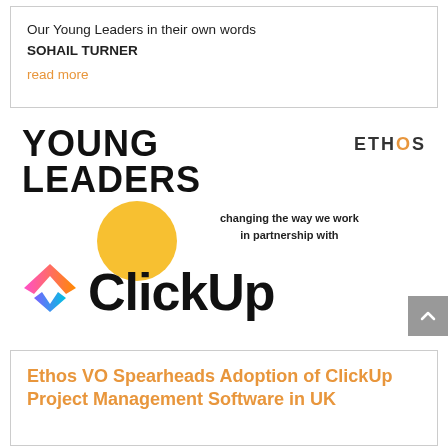Our Young Leaders in their own words
SOHAIL TURNER
read more
[Figure (logo): Young Leaders and Ethos logo with ClickUp partnership branding. Shows 'YOUNG LEADERS' in bold black text with a yellow circle sun graphic, 'ETHOS' in bold letters top right, text 'changing the way we work in partnership with', and the ClickUp logo (colorful chevron icon with 'ClickUp' in bold black text).]
Ethos VO Spearheads Adoption of ClickUp Project Management Software in UK